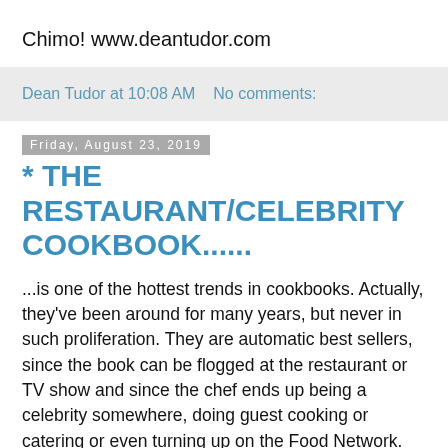Chimo! www.deantudor.com
Dean Tudor at 10:08 AM   No comments:
Friday, August 23, 2019
* THE RESTAURANT/CELEBRITY COOKBOOK......
...is one of the hottest trends in cookbooks. Actually, they've been around for many years, but never in such proliferation. They are automatic best sellers, since the book can be flogged at the restaurant or TV show and since the chef ends up being a celebrity somewhere, doing guest cooking or catering or even turning up on the Food Network. Most of these books will certainly